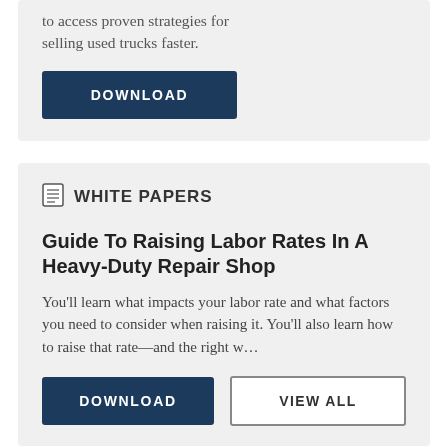to access proven strategies for selling used trucks faster.
DOWNLOAD
WHITE PAPERS
Guide To Raising Labor Rates In A Heavy-Duty Repair Shop
You’ll learn what impacts your labor rate and what factors you need to consider when raising it. You’ll also learn how to raise that rate—and the right w…
DOWNLOAD
VIEW ALL